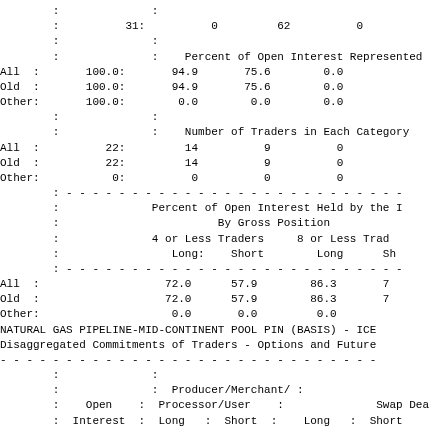|  |  | Changes in Commitments from: | D |
| --- | --- | --- | --- |
| : | : | Changes in Commitments from: | D |
| : | 31: | 0 | 62 | 0 |
| : | : |  |  |  |
| : | : | Percent of Open Interest Represented |  |
| All : | 100.0: | 94.9 | 75.6 | 0.0 |
| Old : | 100.0: | 94.9 | 75.6 | 0.0 |
| Other: | 100.0: | 0.0 | 0.0 | 0.0 |
| : | : |  |  |  |
| : | : | Number of Traders in Each Category |  |
| All : | 22: | 14 | 9 | 0 |
| Old : | 22: | 14 | 9 | 0 |
| Other: | 0: | 0 | 0 | 0 |
| : | ------ |  |  |  |
| : | : | Percent of Open Interest Held by the |  |
| : | : | By Gross Position |  |
| : | : | 4 or Less Traders | 8 or Less Trad |
| : | : | Long: | Short | Long | Sh |
| : | ------ |  |  |  |
| All : |  | 72.0 | 57.9 | 86.3 | 7 |
| Old : |  | 72.0 | 57.9 | 86.3 | 7 |
| Other: |  | 0.0 | 0.0 | 0.0 |
NATURAL GAS PIPELINE-MID-CONTINENT POOL PIN (BASIS) - ICE
Disaggregated Commitments of Traders - Options and Future
|  | Open | Producer/Merchant/ Processor/User | Swap Dea |
| --- | --- | --- | --- |
| : | : | Producer/Merchant/ : |  |
| : | Open : | Processor/User : | Swap Dea |
| : | Interest : | Long : Short : | Long : Short |